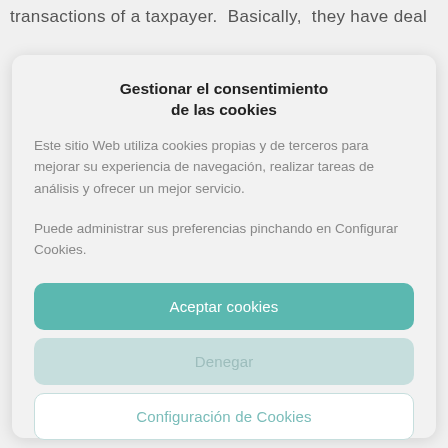transactions of a taxpayer. Basically, they have deal
Gestionar el consentimiento de las cookies
Este sitio Web utiliza cookies propias y de terceros para mejorar su experiencia de navegación, realizar tareas de análisis y ofrecer un mejor servicio.
Puede administrar sus preferencias pinchando en Configurar Cookies.
Aceptar cookies
Denegar
Configuración de Cookies